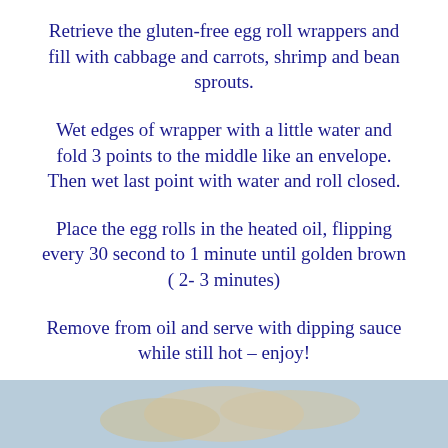Retrieve the gluten-free egg roll wrappers and fill with cabbage and carrots, shrimp and bean sprouts.
Wet edges of wrapper with a little water and fold 3 points to the middle like an envelope. Then wet last point with water and roll closed.
Place the egg rolls in the heated oil, flipping every 30 second to 1 minute until golden brown ( 2- 3 minutes)
Remove from oil and serve with dipping sauce while still hot – enjoy!
[Figure (photo): Photo of egg rolls served on a plate]